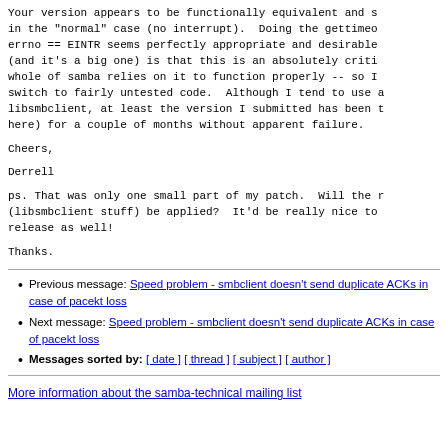Your version appears to be functionally equivalent and sl in the "normal" case (no interrupt).  Doing the gettimeo errno == EINTR seems perfectly appropriate and desirable (and it's a big one) is that this is an absolutely criti whole of samba relies on it to function properly -- so I switch to fairly untested code.  Although I tend to use a libsmbclient, at least the version I submitted has been t here) for a couple of months without apparent failure.
Cheers,
Derrell
ps. That was only one small part of my patch.  Will the r (libsmbclient stuff) be applied?  It'd be really nice to release as well!
Thanks.
Previous message: Speed problem - smbclient doesn't send duplicate ACKs in case of pacekt loss
Next message: Speed problem - smbclient doesn't send duplicate ACKs in case of pacekt loss
Messages sorted by: [ date ] [ thread ] [ subject ] [ author ]
More information about the samba-technical mailing list